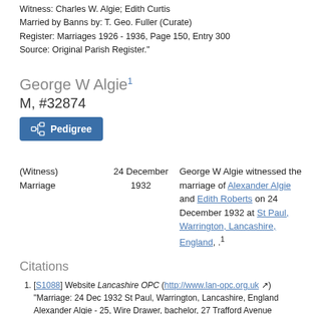Witness: Charles W. Algie; Edith Curtis
Married by Banns by: T. Geo. Fuller (Curate)
Register: Marriages 1926 - 1936, Page 150, Entry 300
Source: Original Parish Register."
George W Algie¹
M, #32874
[Figure (other): Pedigree button]
| Event | Date | Description |
| --- | --- | --- |
| (Witness) Marriage | 24 December 1932 | George W Algie witnessed the marriage of Alexander Algie and Edith Roberts on 24 December 1932 at St Paul, Warrington, Lancashire, England, .¹ |
Citations
[S1088] Website Lancashire OPC (http://www.lan-opc.org.uk) "Marriage: 24 Dec 1932 St Paul, Warrington, Lancashire, England Alexander Algie - 25, Wire Drawer, bachelor, 27 Trafford Avenue Edith Roberts - 21, spinster, 19 Yardley Avenue Groom's Father: Charles Algie, Iron Worker